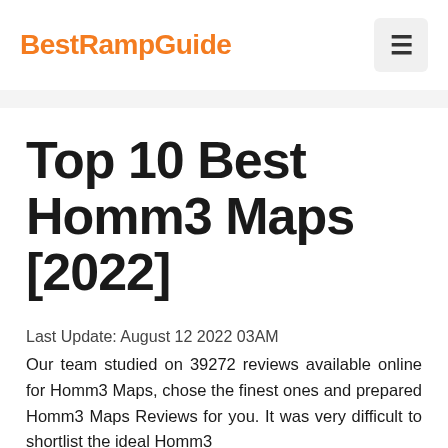BestRampGuide
Top 10 Best Homm3 Maps [2022]
Last Update: August 12 2022 03AM
Our team studied on 39272 reviews available online for Homm3 Maps, chose the finest ones and prepared Homm3 Maps Reviews for you. It was very difficult to shortlist the ideal Homm3